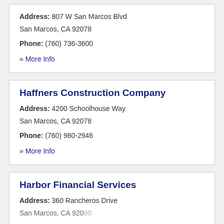Address: 807 W San Marcos Blvd San Marcos, CA 92078
Phone: (760) 736-3600
» More Info
Haffners Construction Company
Address: 4200 Schoolhouse Way San Marcos, CA 92078
Phone: (760) 980-2946
» More Info
Harbor Financial Services
Address: 360 Rancheros Drive San Marcos, CA 92060